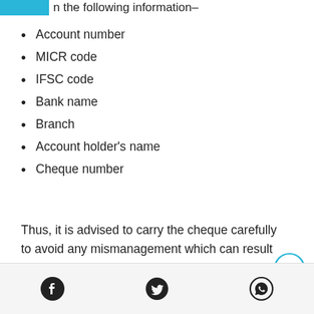n the following information–
Account number
MICR code
IFSC code
Bank name
Branch
Account holder's name
Cheque number
Thus, it is advised to carry the cheque carefully to avoid any mismanagement which can result in fatal financial losses.
Facebook | Twitter | WhatsApp